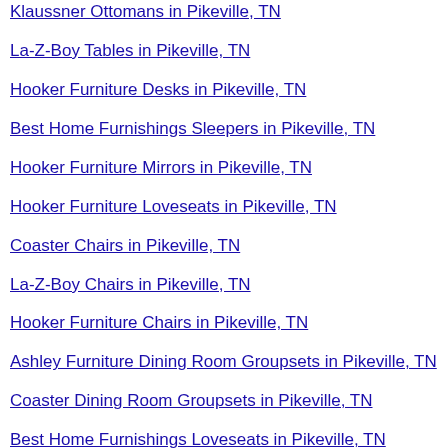Ashley Furniture Chairs in Pikeville, TN
Klaussner Ottomans in Pikeville, TN
La-Z-Boy Tables in Pikeville, TN
Hooker Furniture Desks in Pikeville, TN
Best Home Furnishings Sleepers in Pikeville, TN
Hooker Furniture Mirrors in Pikeville, TN
Hooker Furniture Loveseats in Pikeville, TN
Coaster Chairs in Pikeville, TN
La-Z-Boy Chairs in Pikeville, TN
Hooker Furniture Chairs in Pikeville, TN
Ashley Furniture Dining Room Groupsets in Pikeville, TN
Coaster Dining Room Groupsets in Pikeville, TN
Best Home Furnishings Loveseats in Pikeville, TN